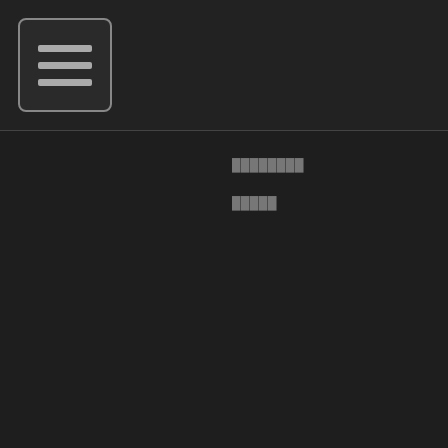[Figure (screenshot): Hamburger menu button icon with three horizontal bars inside a rounded rectangle border]
████████
█████
▶ 목록
█████
█████
██
VDJ██
██
▶ 목록
█████
█████